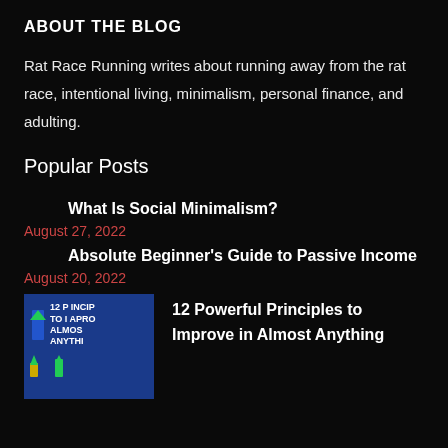ABOUT THE BLOG
Rat Race Running writes about running away from the rat race, intentional living, minimalism, personal finance, and adulting.
Popular Posts
What Is Social Minimalism?
August 27, 2022
Absolute Beginner's Guide to Passive Income
August 20, 2022
[Figure (photo): Book or shirt cover showing '12 Principles to Improve Almost Anything' with arrow icons on dark blue background]
12 Powerful Principles to Improve in Almost Anything